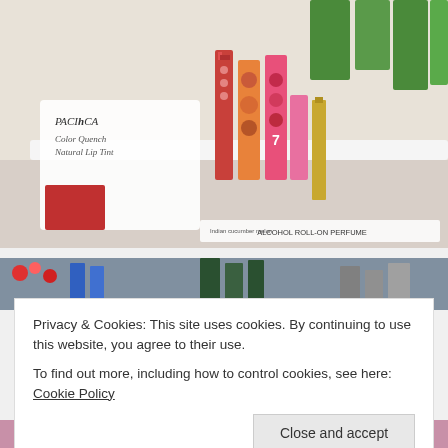[Figure (photo): Photo of Pacifica cosmetics display showing Color Quench Natural Lip Tint products, lipstick tubes with colorful fruit patterns, a perfume roll-on bottle, and an eyeshadow palette. Labels visible include 'PACIFICA Color Quench Natural Lip Tint', 'PACIFICA Miami Color and Perfume', and 'ALCOHOL ROLL-ON PERFUME'.]
[Figure (photo): Partial photo of a store shelf with cosmetics products, partially obscured by cookie consent banner.]
Privacy & Cookies: This site uses cookies. By continuing to use this website, you agree to their use.
To find out more, including how to control cookies, see here: Cookie Policy
[Figure (photo): Partial photo of store shelf showing Pacifica branded products.]